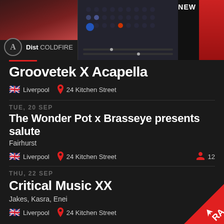[Figure (screenshot): Banner ad for 'Dist COLDFIRE' plugin with logo and synthesizer imagery, with 'NEW' label]
Groovetek X Acapella
🇬🇧 Liverpool  📍 24 Kitchen Street
TUE, 20 SEP
The Wonder Pot x Brasseye presents salute
Fairhurst
🇬🇧 Liverpool  📍 24 Kitchen Street   👤 12
THU, 22 SEP
Critical Music XX
Jakes, Kasra, Enei
🇬🇧 Liverpool  📍 24 Kitchen Street
[Figure (logo): Resident Advisor (RA) logo in white on red triangle corner]